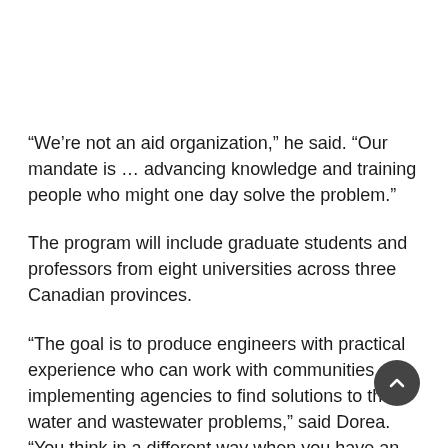“We’re not an aid organization,” he said. “Our mandate is … advancing knowledge and training people who might one day solve the problem.”
The program will include graduate students and professors from eight universities across three Canadian provinces.
“The goal is to produce engineers with practical experience who can work with communities and implementing agencies to find solutions to their water and wastewater problems,” said Dorea. “You think in a different way when you have an understanding of the inequities you’re addressing.”